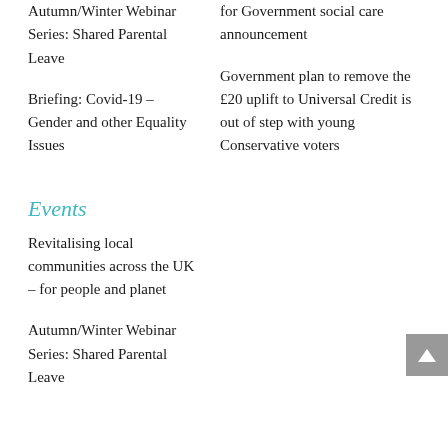Autumn/Winter Webinar Series: Shared Parental Leave
Briefing: Covid-19 – Gender and other Equality Issues
for Government social care announcement
Government plan to remove the £20 uplift to Universal Credit is out of step with young Conservative voters
Events
Revitalising local communities across the UK – for people and planet
Autumn/Winter Webinar Series: Shared Parental Leave